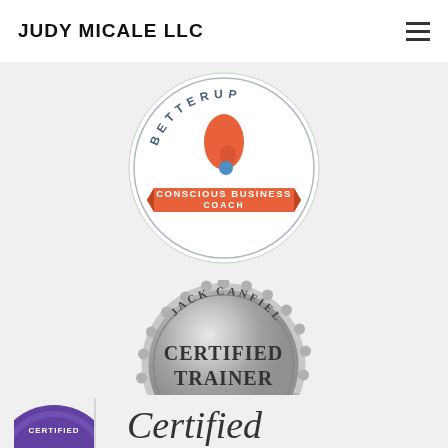JUDY MICALE LLC
[Figure (logo): BetterUp Conscious Business Coach circular badge with orange teardrop and blue dot logo in center, orange ribbon banner at bottom reading CONSCIOUS BUSINESS COACH]
[Figure (logo): Jack Canfield Certified Trainer Success Principles silver foil seal/medal badge]
[Figure (logo): Certified badge (purple seal) partially visible at bottom left, with italic text Certified partially visible at bottom right]